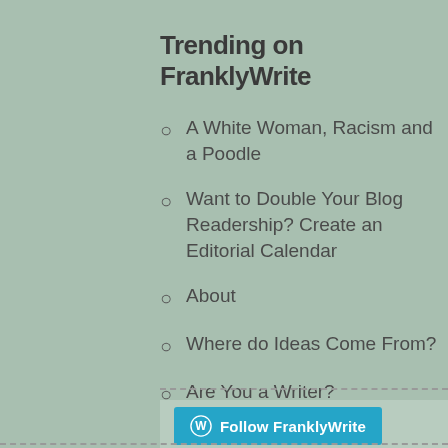Trending on FranklyWrite
A White Woman, Racism and a Poodle
Want to Double Your Blog Readership? Create an Editorial Calendar
About
Where do Ideas Come From?
Are You a Writer?
My Poodle is a Bully
[Figure (other): Follow FranklyWrite button with WordPress logo]